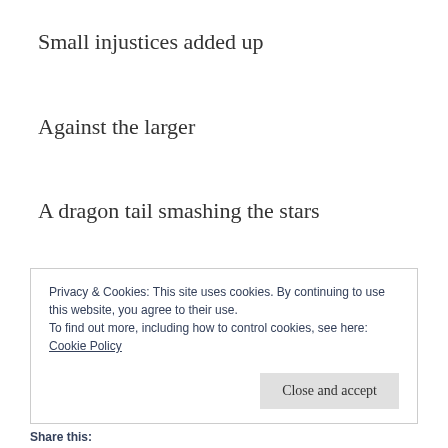Small injustices added up
Against the larger
A dragon tail smashing the stars
Dust they are
Privacy & Cookies: This site uses cookies. By continuing to use this website, you agree to their use.
To find out more, including how to control cookies, see here:
Cookie Policy
Close and accept
Share this: